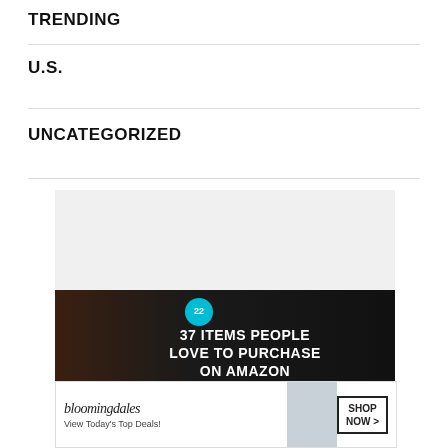TRENDING
U.S.
UNCATEGORIZED
[Figure (infographic): Advertisement overlay for '37 ITEMS PEOPLE LOVE TO PURCHASE ON AMAZON' with a teal badge showing '22' and a background of knives on a dark surface. Has a close X button in top right.]
[Figure (infographic): Bloomingdale's advertisement banner: 'bloomingdales / View Today's Top Deals!' with a model in a hat and 'SHOP NOW >' button.]